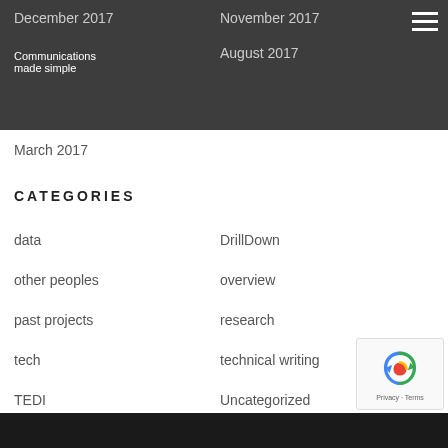December 2017   November 2017   Communications made simple   August 2017   March 2017
CATEGORIES
data
DrillDown
other peoples
overview
past projects
research
tech
technical writing
TEDI
Uncategorized
Privacy · Terms